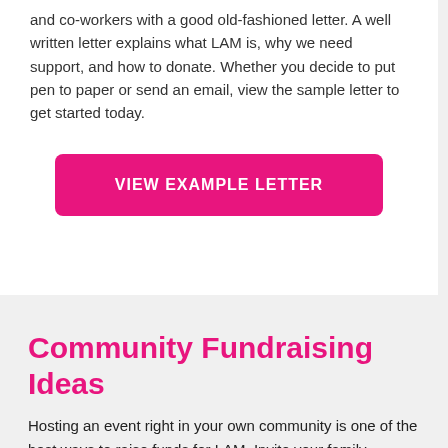and co-workers with a good old-fashioned letter. A well written letter explains what LAM is, why we need support, and how to donate. Whether you decide to put pen to paper or send an email, view the sample letter to get started today.
VIEW EXAMPLE LETTER
Community Fundraising Ideas
Hosting an event right in your own community is one of the best ways to raise funds for LAM. Invite your family, friends, coworkers